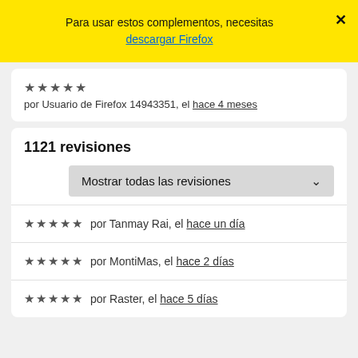Para usar estos complementos, necesitas descargar Firefox
★★★★★ por Usuario de Firefox 14943351, el hace 4 meses
1121 revisiones
Mostrar todas las revisiones
★★★★★ por Tanmay Rai, el hace un día
★★★★★ por MontiMas, el hace 2 días
★★★★★ por Raster, el hace 5 días